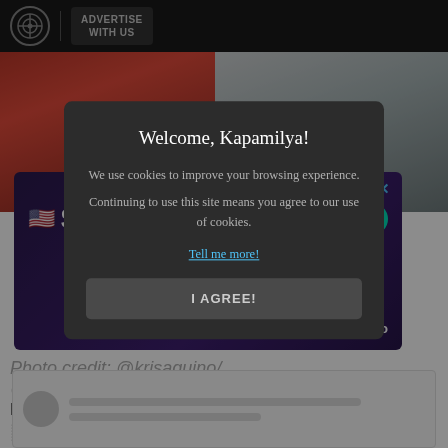ADVERTISE WITH US
[Figure (photo): Two photos side by side: left shows a woman in red, right shows a couple]
[Figure (infographic): Pomelo ad banner: NOW AVAILABLE FOR A LIMITED TIME. $1 = P60. CLAIM OFFER. Applies to first $500 spent in 45 days for new customers.]
Photo credit: @krisaquino/ @thereal...
Kris Aquino ... he highly anticipated ... roducer Neil Arce.
[Figure (screenshot): Social media post preview with avatar placeholder and text lines]
Welcome, Kapamilya!

We use cookies to improve your browsing experience.
Continuing to use this site means you agree to our use of cookies.

Tell me more!

I AGREE!